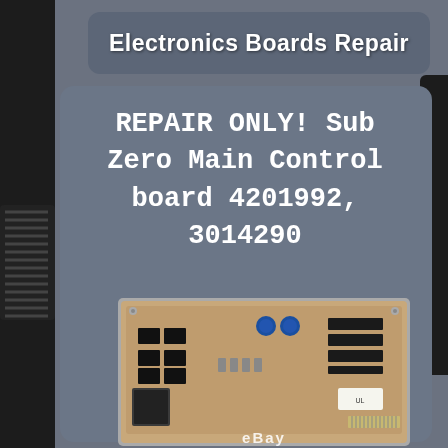Electronics Boards Repair
REPAIR ONLY! Sub Zero Main Control board 4201992, 3014290
[Figure (photo): Photo of a Sub Zero main control circuit board (PCB) model 4201992 / 3014290, showing electronic components including capacitors, relays, transformers, and integrated circuits mounted on a brown PCB inside a gray enclosure. The image has an eBay watermark at the bottom.]